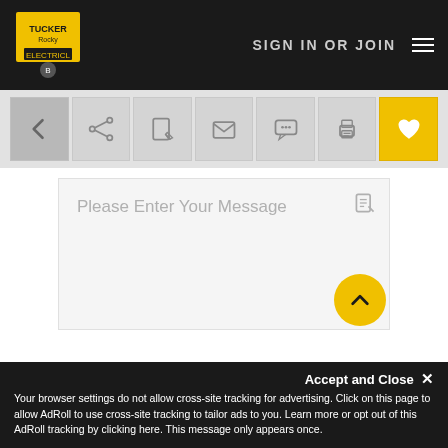SIGN IN OR JOIN
[Figure (screenshot): Toolbar with back arrow, share, edit, email, chat, print, and heart (favorite) icon buttons. Heart button highlighted in yellow.]
Please Enter Your Message
Accept and Close ×
Your browser settings do not allow cross-site tracking for advertising. Click on this page to allow AdRoll to use cross-site tracking to tailor ads to you. Learn more or opt out of this AdRoll tracking by clicking here. This message only appears once.